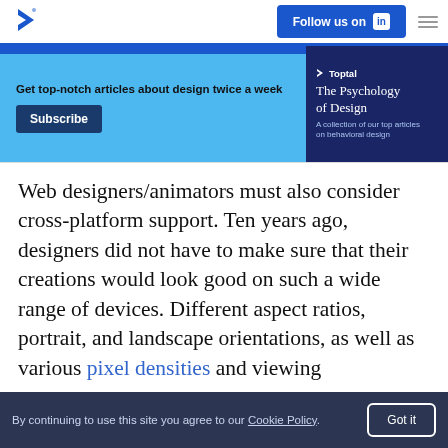Toptal Design Blog — Follow us on LinkedIn
[Figure (infographic): Newsletter subscription banner with light blue background. Text: 'Get top-notch articles about design twice a week'. Subscribe button. Right side: dark blue panel showing Toptal 'The Psychology of Design — A collection of our top articles on behavioral design' ebook cover.]
Web designers/animators must also consider cross-platform support. Ten years ago, designers did not have to make sure that their creations would look good on such a wide range of devices. Different aspect ratios, portrait, and landscape orientations, as well as various pixel densities and viewing distances present web designers with
By continuing to use this site you agree to our Cookie Policy.